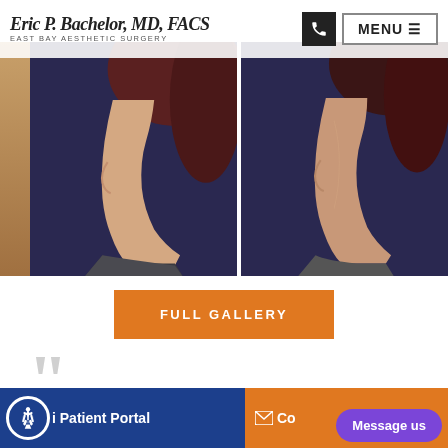Eric P. Bachelor, MD, FACS — East Bay Aesthetic Surgery | MENU
[Figure (photo): Before and after profile photos of a female rhinoplasty patient shown side by side against a dark blue background. Left image shows before, right shows after, both in side profile view.]
FULL GALLERY
[Figure (illustration): Large decorative gray quotation mark icon]
Patient Portal | Contact | Message us